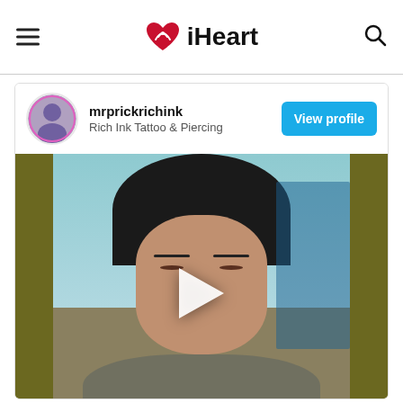iHeart
mrprickrichink
Rich Ink Tattoo & Piercing
View profile
[Figure (photo): Video thumbnail showing a person with dark hair looking at camera with a play button overlay. Content from mrprickrichink / Rich Ink Tattoo & Piercing on iHeart.]